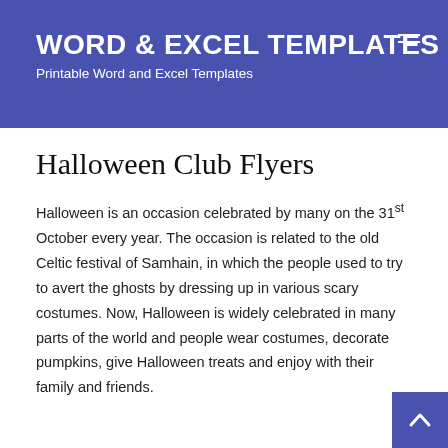WORD & EXCEL TEMPLATES
Printable Word and Excel Templates
Halloween Club Flyers
Halloween is an occasion celebrated by many on the 31st October every year. The occasion is related to the old Celtic festival of Samhain, in which the people used to try to avert the ghosts by dressing up in various scary costumes. Now, Halloween is widely celebrated in many parts of the world and people wear costumes, decorate pumpkins, give Halloween treats and enjoy with their family and friends.